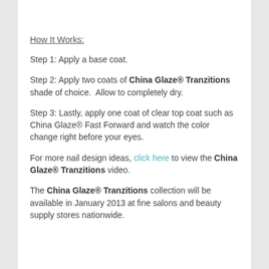How It Works:
Step 1: Apply a base coat.
Step 2: Apply two coats of China Glaze® Tranzitions shade of choice.  Allow to completely dry.
Step 3: Lastly, apply one coat of clear top coat such as China Glaze® Fast Forward and watch the color change right before your eyes.
For more nail design ideas, click here to view the China Glaze® Tranzitions video.
The China Glaze® Tranzitions collection will be available in January 2013 at fine salons and beauty supply stores nationwide.